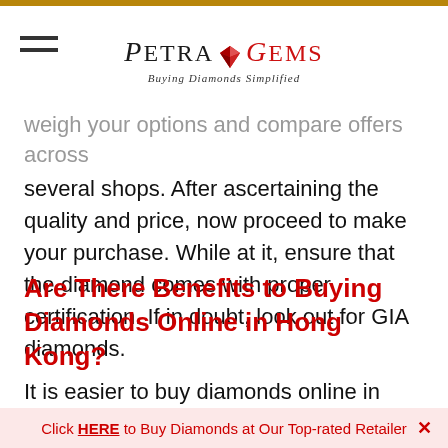PETRA GEMS — Buying Diamonds Simplified
weigh your options and compare offers across several shops. After ascertaining the quality and price, now proceed to make your purchase. While at it, ensure that the diamond comes with proper certification. If in doubt, look out for GIA diamonds.
Are There Benefits to Buying Diamonds Online in Hong Kong?
It is easier to buy diamonds online in Hong Kong. Besides, it is also cheaper to shop online
Click HERE to Buy Diamonds at Our Top-rated Retailer